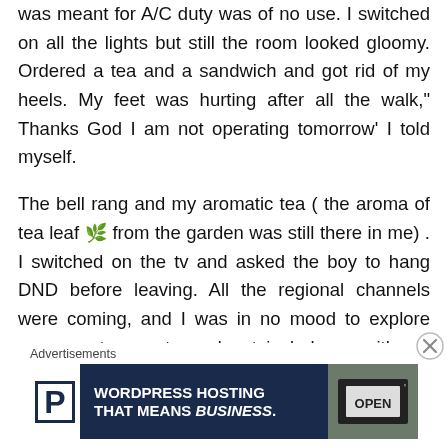was meant for A/C duty was of no use. I switched on all the lights but still the room looked gloomy. Ordered a tea and a sandwich and got rid of my heels. My feet was hurting after all the walk," Thanks God I am not operating tomorrow' I told myself.
The bell rang and my aromatic tea ( the aroma of tea leaf 🌿 from the garden was still there in me) . I switched on the tv and asked the boy to hang DND before leaving. All the regional channels were coming, and I was in no mood to explore more on tv, so stepped out in balcony with my cup. Nothing was visible than Mr. Delhi's waving hand....his room was right in front but in the other wing.
Advertisements
[Figure (other): Advertisement banner for WordPress Hosting with 'P' logo on white background, text 'WORDPRESS HOSTING THAT MEANS BUSINESS.' on dark navy background, and an OPEN sign photo on the right.]